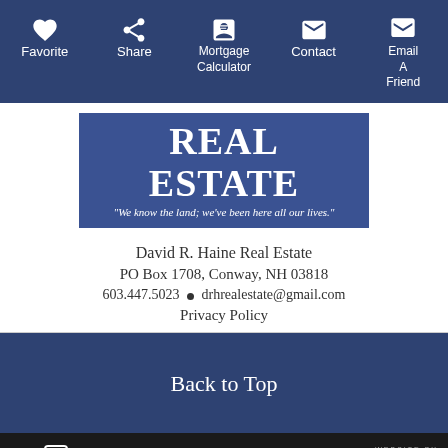Favorite | Share | Mortgage Calculator | Contact | Email A Friend
[Figure (logo): REAL ESTATE logo with tagline: We know the land; we've been here all our lives.]
David R. Haine Real Estate
PO Box 1708, Conway, NH 03818
603.447.5023 • drhrealestate@gmail.com
Privacy Policy
Back to Top
Equal Housing | MLS | Broker Reciprocity | Website by unionstreet media